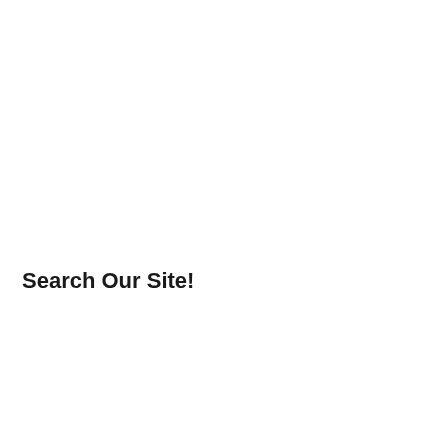Search Our Site!
[Figure (screenshot): Search bar with text input placeholder 'Search' and a dark grey search button with magnifying glass icon]
[Figure (infographic): Advertisement banner for California Psychics: 'Need answers? Chat with a Psychic now. $1/ per minute* for new customers' with orange 'Sign up now' button and '*20 minutes purchase required' disclaimer]